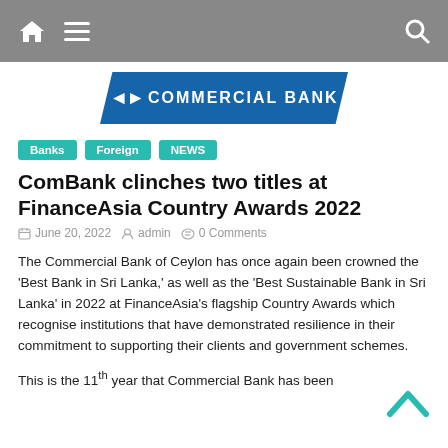Navigation bar with home, menu, and search icons
[Figure (logo): Commercial Bank logo banner in blue with stylized CB symbol and text COMMERCIAL BANK]
Banks  Foreign  NEWS
ComBank clinches two titles at FinanceAsia Country Awards 2022
June 20, 2022   admin   0 Comments
The Commercial Bank of Ceylon has once again been crowned the 'Best Bank in Sri Lanka,' as well as the 'Best Sustainable Bank in Sri Lanka' in 2022 at FinanceAsia's flagship Country Awards which recognise institutions that have demonstrated resilience in their commitment to supporting their clients and government schemes.
This is the 11th year that Commercial Bank has been